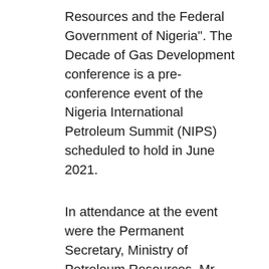Resources and the Federal Government of Nigeria". The Decade of Gas Development conference is a pre-conference event of the Nigeria International Petroleum Summit (NIPS) scheduled to hold in June 2021.
In attendance at the event were the Permanent Secretary, Ministry of Petroleum Resources, Mr. Bitrus Bako Nabasu, mni, Directors of the Ministry and Heads of Agencies.
There were goodwill messages from the Secretary General, Organization of Petroleum Exporting Countries (OPEC), H.E., Mohammad Sanusi Barkindo, Secretary General, Gas Exporting Countries Forum (GECF), H.E., Yuri Sentyurin, Secretary General, International Energy Forum (IEF), Mr. Joseph